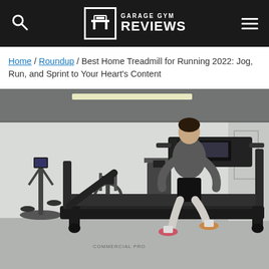GARAGE GYM REVIEWS
Home / Roundup / Best Home Treadmill for Running 2022: Jog, Run, and Sprint to Your Heart's Content
[Figure (photo): Person running on a NordicTrack Commercial Pro treadmill in a garage gym setting with other exercise equipment (elliptical, stationary bike) visible in the background]